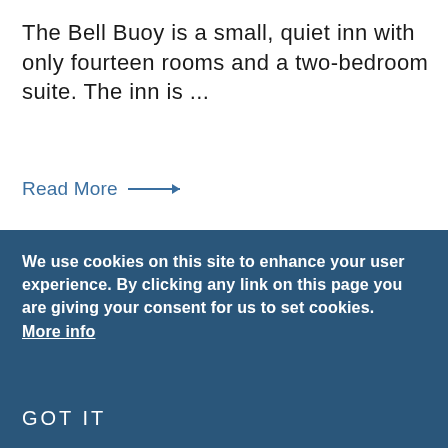The Bell Buoy is a small, quiet inn with only fourteen rooms and a two-bedroom suite. The inn is ...
Read More →
[Figure (photo): Exterior photo of a classical building with columns and a flagpole against a blue sky — partial view, cropped at the bottom.]
We use cookies on this site to enhance your user experience. By clicking any link on this page you are giving your consent for us to set cookies. More info
GOT IT